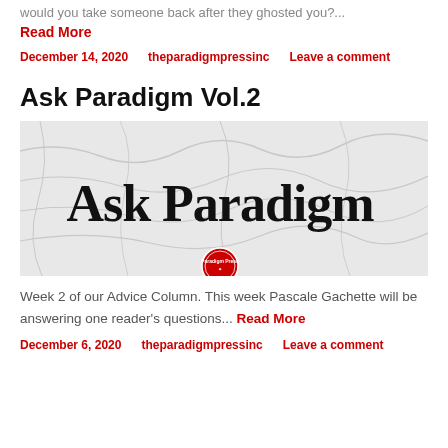would you take someone back after they ghosted you?...
Read More
December 14, 2020    theparadigmpressinc    Leave a comment
Ask Paradigm Vol.2
[Figure (photo): Banner image with crumpled white paper background and 'Ask Paradigm' text in large black serif font, with a Paradigm Press circular logo at bottom center]
Week 2 of our Advice Column. This week Pascale Gachette will be answering one reader's questions... Read More
December 6, 2020    theparadigmpressinc    Leave a comment